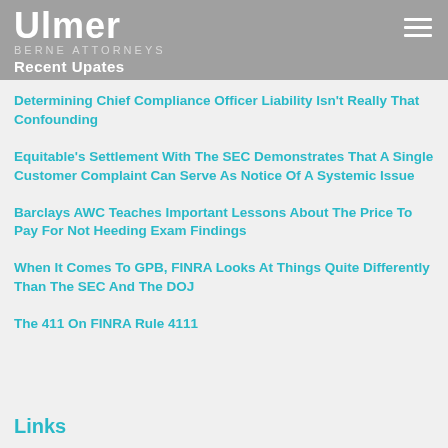Ulmer Recent Updates
Determining Chief Compliance Officer Liability Isn't Really That Confounding
Equitable's Settlement With The SEC Demonstrates That A Single Customer Complaint Can Serve As Notice Of A Systemic Issue
Barclays AWC Teaches Important Lessons About The Price To Pay For Not Heeding Exam Findings
When It Comes To GPB, FINRA Looks At Things Quite Differently Than The SEC And The DOJ
The 411 On FINRA Rule 4111
Links